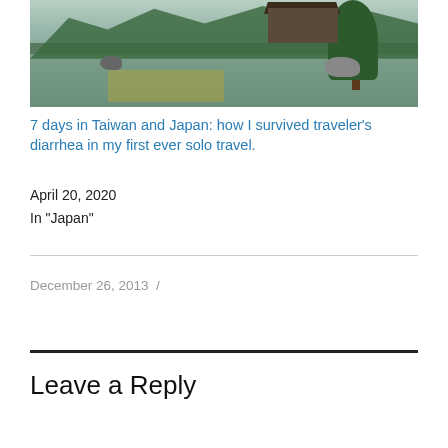[Figure (photo): Japanese garden with a tranquil pond, traditional building, pine trees, and rocks reflected in calm water]
7 days in Taiwan and Japan: how I survived traveler's diarrhea in my first ever solo travel.
April 20, 2020
In "Japan"
December 26, 2013 /
Leave a Reply